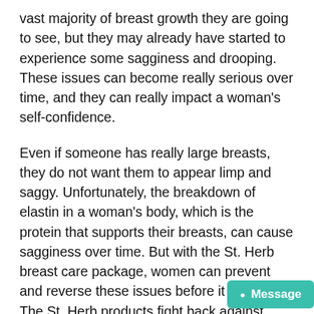vast majority of breast growth they are going to see, but they may already have started to experience some sagginess and drooping. These issues can become really serious over time, and they can really impact a woman's self-confidence.
Even if someone has really large breasts, they do not want them to appear limp and saggy. Unfortunately, the breakdown of elastin in a woman's body, which is the protein that supports their breasts, can cause sagginess over time. But with the St. Herb breast care package, women can prevent and reverse these issues before it is too late! The St. Herb products fight back against sagging, drooping and wrin...